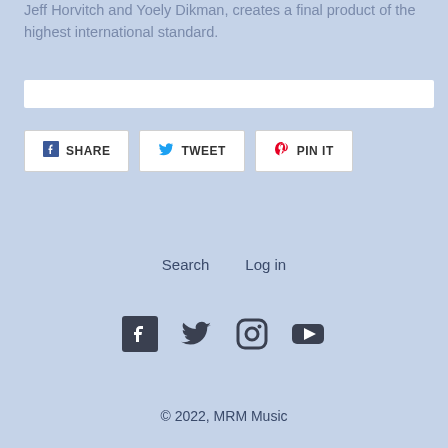Jeff Horvitch and Yoely Dikman, creates a final product of the highest international standard.
[Figure (other): White search bar / input field]
[Figure (other): Social share buttons: SHARE (Facebook), TWEET (Twitter), PIN IT (Pinterest)]
Search   Log in
[Figure (other): Social media icons: Facebook, Twitter, Instagram, YouTube]
© 2022, MRM Music